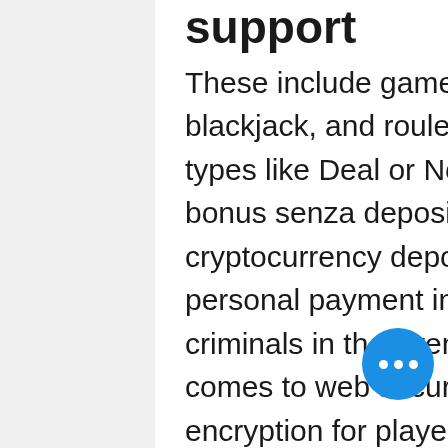support
These include games like baccarat, poker, blackjack, and roulette, but also specialty game types like Deal or No Deal and Dice Duel, bitstarz bonus senza deposito code. FortuneJack only uses cryptocurrency deposits, so there's no risk of your personal payment information being lifted by criminals in the event of a security breach. When it comes to web security, FortuneJack uses SSL encryption for player credentials, and the casino hasn't been hacked or successfully attacked since its launch. As all of FortuneJack's games are provably fair, there's also no risk of being treated unfairly when it comes to odds or placing bets. One of the best places where you can wager on football matches and competitions with your Bitcoins, is CloudBet, bitstarz bonus senza deposito code. Their massive amount of slots games has even drawn players from traditional casinos...